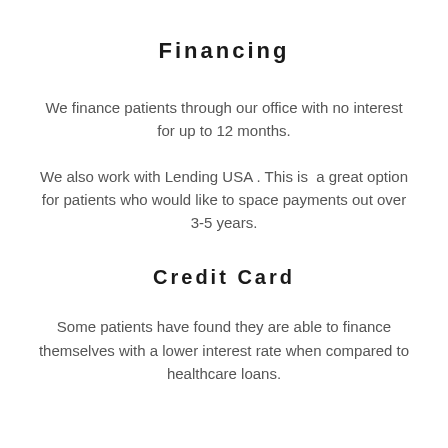Financing
We finance patients through our office with no interest for up to 12 months.
We also work with Lending USA . This is  a great option for patients who would like to space payments out over 3-5 years.
Credit Card
Some patients have found they are able to finance themselves with a lower interest rate when compared to healthcare loans.